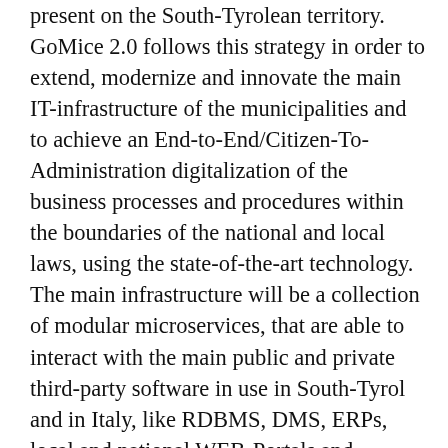present on the South-Tyrolean territory. GoMice 2.0 follows this strategy in order to extend, modernize and innovate the main IT-infrastructure of the municipalities and to achieve an End-to-End/Citizen-To-Administration digitalization of the business processes and procedures within the boundaries of the national and local laws, using the state-of-the-art technology. The main infrastructure will be a collection of modular microservices, that are able to interact with the main public and private third-party software in use in South-Tyrol and in Italy, like RDBMS, DMS, ERPs, local and national WEB-Portals and infrastructures and with the national digital Identity called SPID. The citizens will be able to identify themselves with their digital identity, they'll fill out a Web-Form and will send the generated digital document and the embedded data to the back office of the municipalities. The document will be automatically registered, and the data will